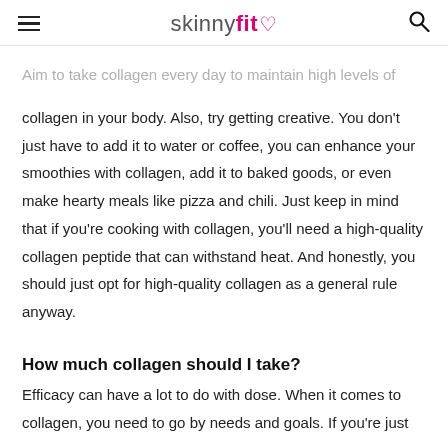skinnyfit♡
Aim to take collagen every day to maintain high levels of collagen in your body. Also, try getting creative. You don't just have to add it to water or coffee, you can enhance your smoothies with collagen, add it to baked goods, or even make hearty meals like pizza and chili. Just keep in mind that if you're cooking with collagen, you'll need a high-quality collagen peptide that can withstand heat. And honestly, you should just opt for high-quality collagen as a general rule anyway.
How much collagen should I take?
Efficacy can have a lot to do with dose. When it comes to collagen, you need to go by needs and goals. If you're just